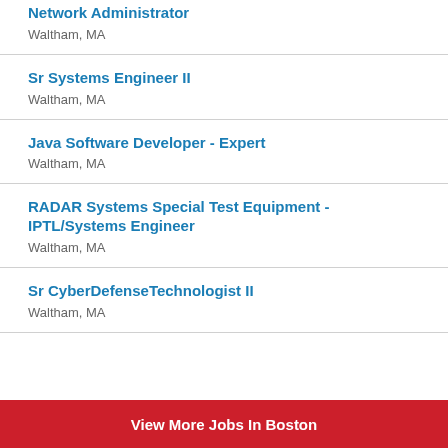Network Administrator
Waltham, MA
Sr Systems Engineer II
Waltham, MA
Java Software Developer - Expert
Waltham, MA
RADAR Systems Special Test Equipment - IPTL/Systems Engineer
Waltham, MA
Sr CyberDefenseTechnologist II
Waltham, MA
View More Jobs In Boston